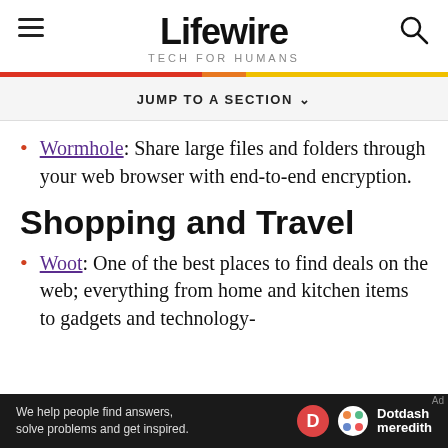Lifewire TECH FOR HUMANS
JUMP TO A SECTION
Wormhole: Share large files and folders through your web browser with end-to-end encryption.
Shopping and Travel
Woot: One of the best places to find deals on the web; everything from home and kitchen items to gadgets and technology-
[Figure (logo): Dotdash Meredith advertisement banner at bottom of page]